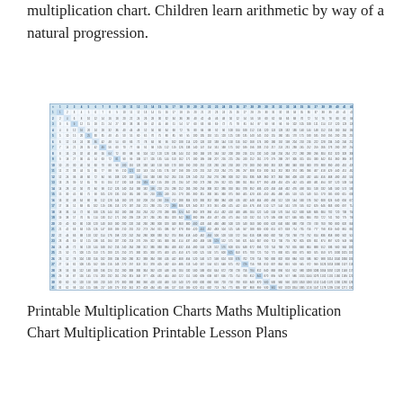multiplication chart. Children learn arithmetic by way of a natural progression.
[Figure (table-as-image): A large printable multiplication chart showing products of numbers, with a blue/white color scheme, diagonal highlighted cells, spanning many rows and columns.]
Printable Multiplication Charts Maths Multiplication Chart Multiplication Printable Lesson Plans